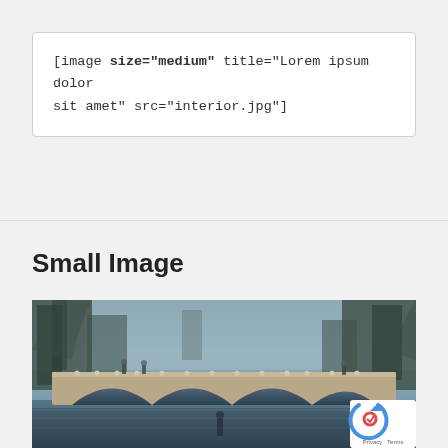[image size="medium" title="Lorem ipsum dolor sit amet" src="interior.jpg"]
Small Image
[Figure (photo): Photograph of a stone bridge with multiple arches over water, surrounded by bare winter trees in a misty/foggy park setting. People visible on the bridge.]